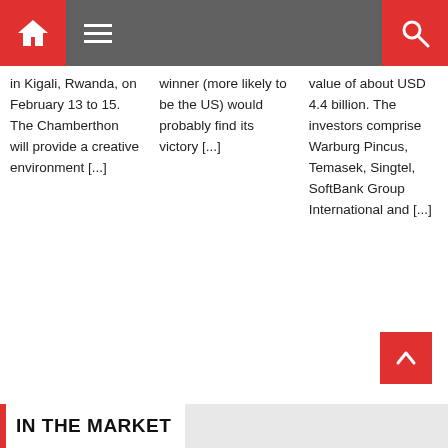Navigation bar with home, menu, and search icons
in Kigali, Rwanda, on February 13 to 15. The Chamberthon will provide a creative environment [...]
winner (more likely to be the US) would probably find its victory [...]
value of about USD 4.4 billion. The investors comprise Warburg Pincus, Temasek, Singtel, SoftBank Group International and [...]
◄ East Afric...
Remittanc...
IN THE MARKET